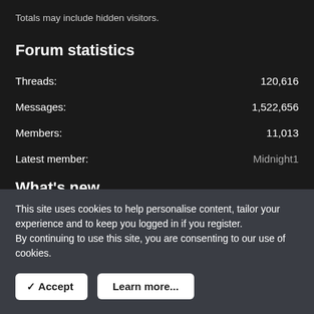Totals may include hidden visitors.
Forum statistics
Threads: 120,616
Messages: 1,522,656
Members: 11,013
Latest member: Midnight1
What's new
This site uses cookies to help personalise content, tailor your experience and to keep you logged in if you register.
By continuing to use this site, you are consenting to our use of cookies.
✓ Accept
Learn more...